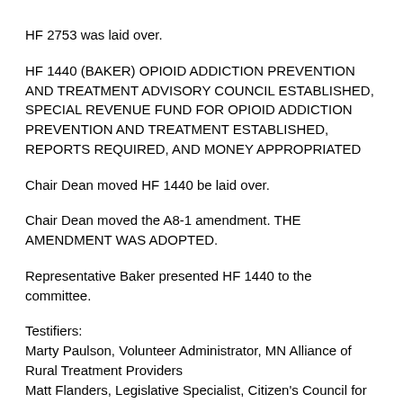HF 2753 was laid over.
HF 1440 (BAKER) OPIOID ADDICTION PREVENTION AND TREATMENT ADVISORY COUNCIL ESTABLISHED, SPECIAL REVENUE FUND FOR OPIOID ADDICTION PREVENTION AND TREATMENT ESTABLISHED, REPORTS REQUIRED, AND MONEY APPROPRIATED
Chair Dean moved HF 1440 be laid over.
Chair Dean moved the A8-1 amendment. THE AMENDMENT WAS ADOPTED.
Representative Baker presented HF 1440 to the committee.
Testifiers:
Marty Paulson, Volunteer Administrator, MN Alliance of Rural Treatment Providers
Matt Flanders, Legislative Specialist, Citizen's Council for Health Freedom
Brian Zerbic, Deputy Director of Drug Abuse, Minnesota